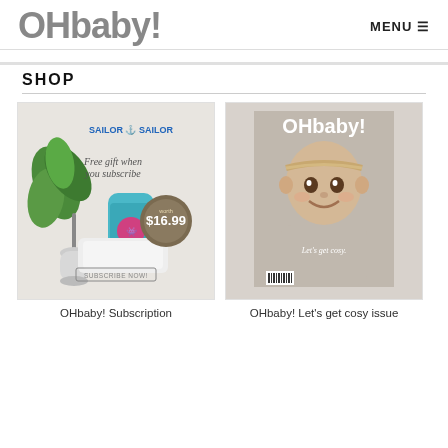OHbaby! MENU
SHOP
[Figure (photo): OHbaby! Subscription promotional image showing a Sailor Sailor hand foam product and green plant, with text 'Free gift when you subscribe - worth $16.99' and a 'Subscribe now!' button]
OHbaby! Subscription
[Figure (photo): OHbaby! magazine cover featuring a smiling baby with the text 'Let's get cosy' - the Let's get cosy issue]
OHbaby! Let's get cosy issue